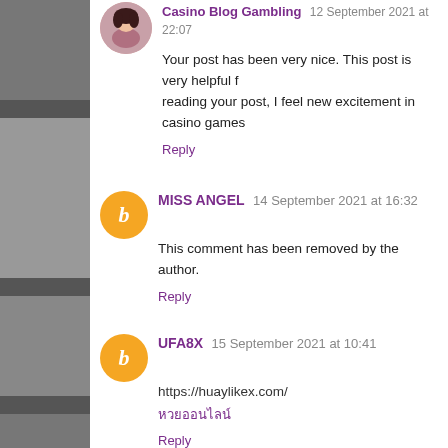[Figure (illustration): Partial view of first commenter's avatar photo (woman with dark hair)]
Casino Blog Gambling 12 September 2021 at 22:07
Your post has been very nice. This post is very helpful f... reading your post, I feel new excitement in casino games...
Reply
[Figure (logo): Orange Blogger 'B' avatar icon for MISS ANGEL]
MISS ANGEL 14 September 2021 at 16:32
This comment has been removed by the author.
Reply
[Figure (logo): Orange Blogger 'B' avatar icon for UFA8X]
UFA8X 15 September 2021 at 10:41
https://huaylikex.com/
หวยออนไลน์
Reply
[Figure (logo): Orange Blogger 'B' avatar icon for John smith]
John smith 15 September 2021 at 20:37
Thanks for this usefull article, waiting for this article like...
Reply